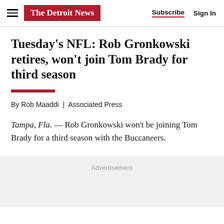The Detroit News  Subscribe  Sign In
Tuesday's NFL: Rob Gronkowski retires, won't join Tom Brady for third season
By Rob Maaddi  |  Associated Press
Tampa, Fla. — Rob Gronkowski won't be joining Tom Brady for a third season with the Buccaneers.
Advertisement